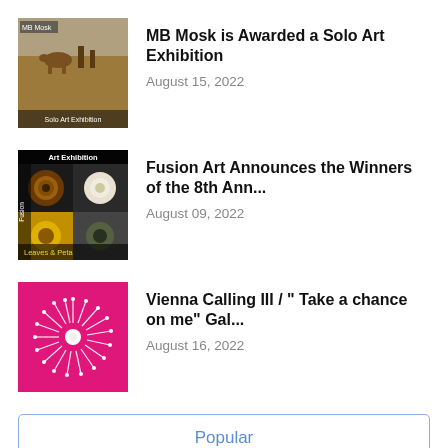[Figure (photo): Thumbnail image for MB Mosk Solo Art Exhibition article - desert outdoor scene with 'Solo Art Exhibition' label]
MB Mosk is Awarded a Solo Art Exhibition
August 15, 2022
[Figure (photo): Thumbnail image for Fusion Art article - grid of flower photos with 'Art Exhibition' header and 'Leaves & Peta' label]
Fusion Art Announces the Winners of the 8th Ann...
August 09, 2022
[Figure (photo): Thumbnail image for Vienna Calling III article - pink flower on magenta background]
Vienna Calling III / " Take a chance on me" Gal...
August 16, 2022
Popular